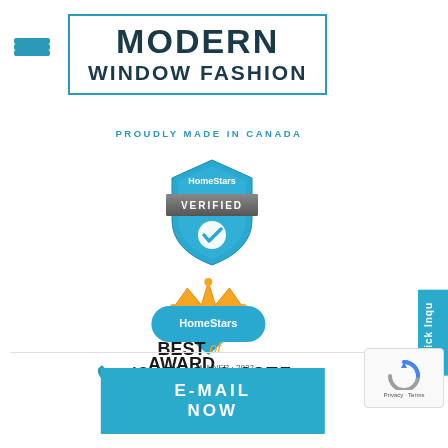[Figure (logo): Modern Window Fashion logo with blue border box and hamburger menu icon]
PROUDLY MADE IN CANADA
[Figure (logo): HomeStars Verified badge - blue shield with checkmark]
[Figure (logo): HomeStars Best of Award Winner 2022 badge with crown]
(647) 801-2375
E-MAIL NOW